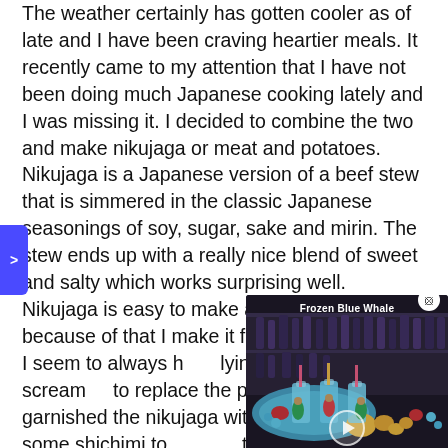The weather certainly has gotten cooler as of late and I have been craving heartier meals. It recently came to my attention that I have not been doing much Japanese cooking lately and I was missing it. I decided to combine the two and make nikujaga or meat and potatoes. Nikujaga is a Japanese version of a beef stew that is simmered in the classic Japanese seasonings of soy, sugar, sake and mirin. The stew ends up with a really nice blend of sweet and salty which works surprising well. Nikujaga is easy to make and tasty and because of that I make it fairly often. Recently I seem to always h[...]lying around that just scream[...]to replace the potatoes with[...]garnished the nikujaga with[...]onions and some shichimi to[...]togarashi is a Japanese condiment that is made from a blend of chilies and other things like sesame seeds,
[Figure (photo): Video overlay showing 'Frozen Blue Whale' — blue cocktail drinks with small figurines and colorful garnishes, with a play button in the center]